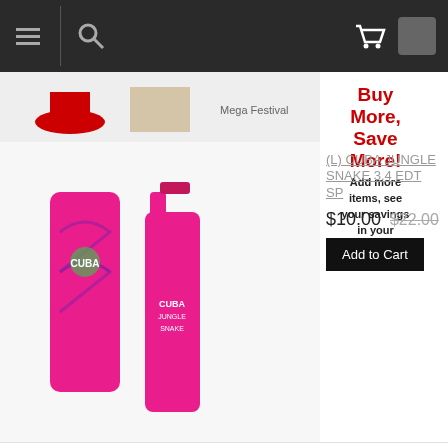Navigation bar with menu, search, cart icons
[Figure (screenshot): Top strip showing product images including a red item and beige item with 'Mega Festival' text]
Buy More, Save More! Add more items, see your savings in your CART!
[Figure (photo): Cuba Jungle Snake perfume bottles - pink snake-patterned bottle and pink spray]
(L) CUBA JUNGLE SNAKE 3.4 EDT SP
$10.00  $22.00
Add to Cart
[Figure (photo): Moschino Fresh Couture - white box with MOSCHINO text and blue cleaning bottle spray]
(L) FRESH COUTURE 3.4 EDT SP
$52.00  $80.00
Add to Cart
[Figure (photo): Moschino Fresh Couture Gold - gold box with MOSCHINO text and gold spray bottle]
(L) FRESH COUTURE GOLD 3.4 EDP SP
$44.95  $80.00